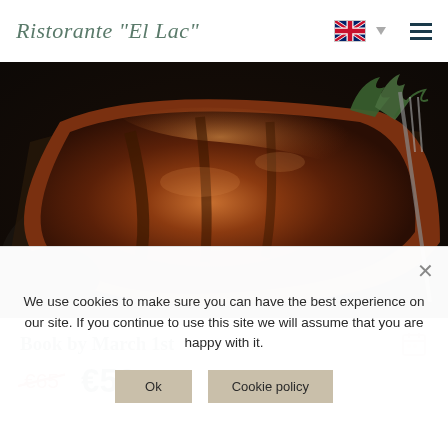Ristorante "El Lac"
[Figure (photo): Close-up photo of a grilled steak on a dark cast iron pan with herbs on top, dark background]
Book by March 1st
€65 €50
We use cookies to make sure you can have the best experience on our site. If you continue to use this site we will assume that you are happy with it.
Ok
Cookie policy